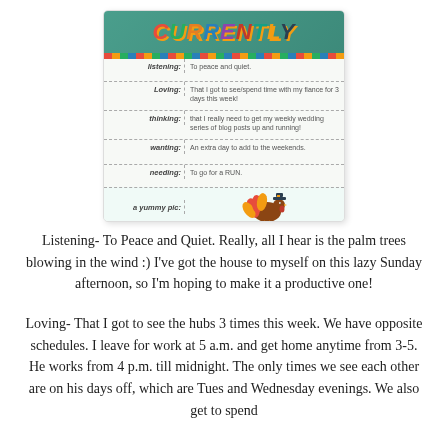[Figure (illustration): A 'Currently' themed card/template with colorful lettering at the top spelling CURRENTLY on a teal background, with rows for Listening, Loving, thinking, wanting, needing, and a yummy pic section with a cartoon turkey at the bottom. Each row has a label on the left and text content on the right.]
Listening- To Peace and Quiet. Really, all I hear is the palm trees blowing in the wind :) I've got the house to myself on this lazy Sunday afternoon, so I'm hoping to make it a productive one!
Loving- That I got to see the hubs 3 times this week. We have opposite schedules. I leave for work at 5 a.m. and get home anytime from 3-5. He works from 4 p.m. till midnight. The only times we see each other are on his days off, which are Tues and Wednesday evenings. We also get to spend